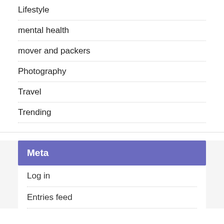Lifestyle
mental health
mover and packers
Photography
Travel
Trending
Meta
Log in
Entries feed